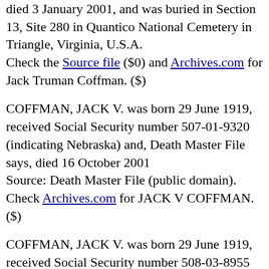died 3 January 2001, and was buried in Section 13, Site 280 in Quantico National Cemetery in Triangle, Virginia, U.S.A.
Check the Source file ($0) and Archives.com for Jack Truman Coffman. ($)
COFFMAN, JACK V. was born 29 June 1919, received Social Security number 507-01-9320 (indicating Nebraska) and, Death Master File says, died 16 October 2001
Source: Death Master File (public domain). Check Archives.com for JACK V COFFMAN. ($)
COFFMAN, JACK V. was born 29 June 1919, received Social Security number 508-03-8955 (indicating Nebraska) and, Death Master File says, died 16 October 2001
Source: Death Master File (public domain). Check Archives.com for JACK V COFFMAN. ($)
COFFMAN, JACK W. was born 5 June 1921, received Social Security number 336-14-8669 (indicating West...